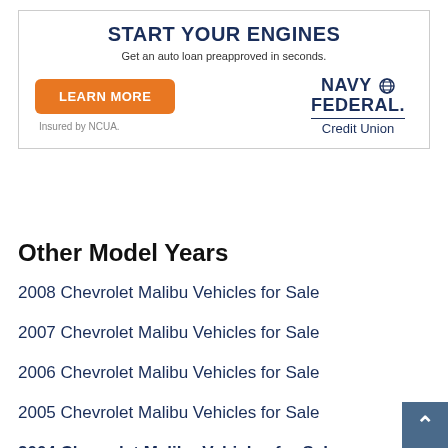[Figure (infographic): Navy Federal Credit Union advertisement banner. Headline: START YOUR ENGINES. Subtext: Get an auto loan preapproved in seconds. Orange button: LEARN MORE. Text below button: Insured by NCUA. Navy Federal Credit Union logo on the right.]
Other Model Years
2008 Chevrolet Malibu Vehicles for Sale
2007 Chevrolet Malibu Vehicles for Sale
2006 Chevrolet Malibu Vehicles for Sale
2005 Chevrolet Malibu Vehicles for Sale
2004 Chevrolet Malibu Vehicles for Sale